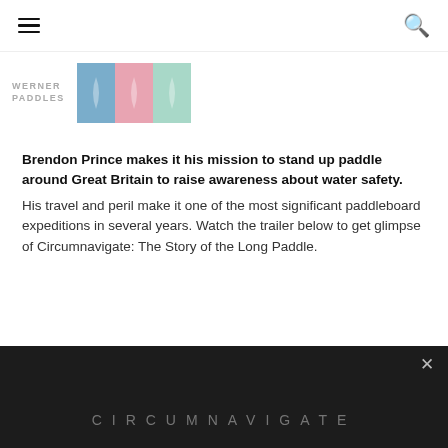≡ [menu] [search]
[Figure (logo): Werner Paddles logo and colored banner blocks]
Brendon Prince makes it his mission to stand up paddle around Great Britain to raise awareness about water safety. His travel and peril make it one of the most significant paddleboard expeditions in several years. Watch the trailer below to get glimpse of Circumnavigate: The Story of the Long Paddle.
[Figure (screenshot): Dark video thumbnail with 'CIRCUMNAVIGATE' text in light letterforms and an X close button]